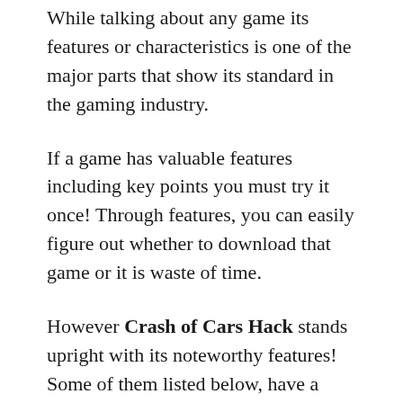While talking about any game its features or characteristics is one of the major parts that show its standard in the gaming industry.
If a game has valuable features including key points you must try it once! Through features, you can easily figure out whether to download that game or it is waste of time.
However Crash of Cars Hack stands upright with its noteworthy features! Some of them listed below, have a look at them.
Multiplayer opportunity makes every game more interesting. Playing with friends feels